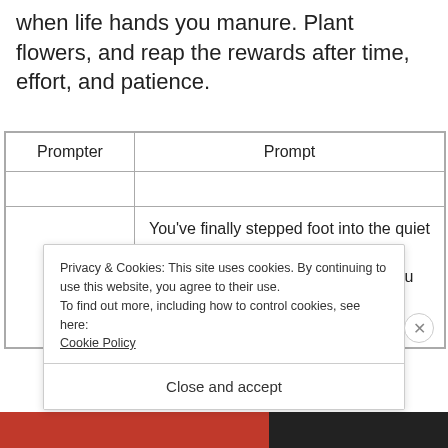when life hands you manure. Plant flowers, and reap the rewards after time, effort, and patience.
| Prompter | Prompt |
| --- | --- |
|  |  |
|  | You've finally stepped foot into the quiet halls of the museum on 42nd Street. You had always wanted to go. As you walk |
Privacy & Cookies: This site uses cookies. By continuing to use this website, you agree to their use.
To find out more, including how to control cookies, see here: Cookie Policy
Close and accept